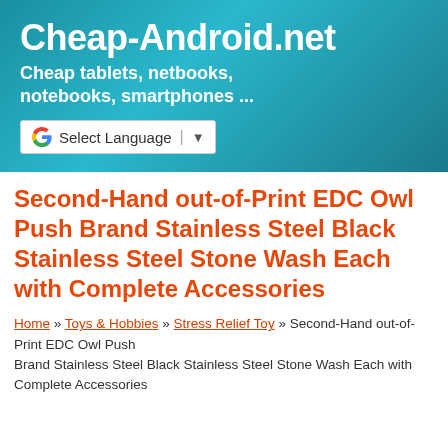Cheap-Android.net – Cheap tablets, netbooks, notebooks, smartphones ...
Second-Hand out-of-Print EDC Owl Push Brand Stainless Steel Black Stainless Steel Stone Wash Each with Complete Accessories
Home » Toys & Hobbies » Stress Relief Toy » Second-Hand out-of-Print EDC Owl Push Brand Stainless Steel Black Stainless Steel Stone Wash Each with Complete Accessories